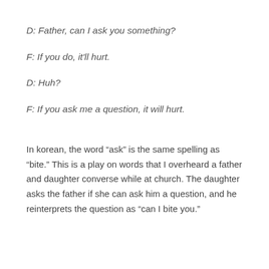D: Father, can I ask you something?
F: If you do, it'll hurt.
D: Huh?
F: If you ask me a question, it will hurt.
In korean, the word “ask” is the same spelling as “bite.” This is a play on words that I overheard a father and daughter converse while at church. The daughter asks the father if she can ask him a question, and he reinterprets the question as “can I bite you.”